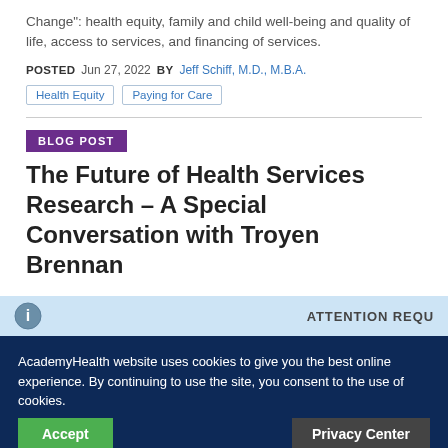Change": health equity, family and child well-being and quality of life, access to services, and financing of services.
POSTED Jun 27, 2022 BY Jeff Schiff, M.D., M.B.A.
Health Equity
Paying for Care
BLOG POST
The Future of Health Services Research – A Special Conversation with Troyen Brennan
ATTENTION REQU
AcademyHealth website uses cookies to give you the best online experience. By continuing to use the site, you consent to the use of cookies.
Accept
Privacy Center
BLOG POST